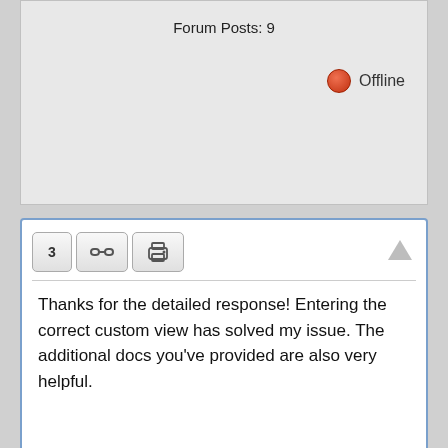Forum Posts: 9
Offline
Thanks for the detailed response! Entering the correct custom view has solved my issue. The additional docs you've provided are also very helpful.

Russ
All RSS
Forum Timezone: America/New_York